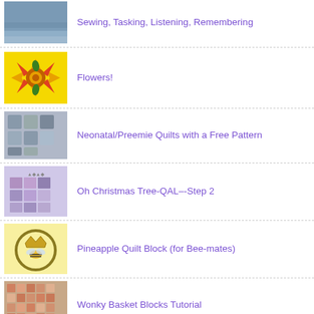Sewing, Tasking, Listening, Remembering
Flowers!
Neonatal/Preemie Quilts with a Free Pattern
Oh Christmas Tree-QAL--Step 2
Pineapple Quilt Block (for Bee-mates)
Wonky Basket Blocks Tutorial
Sewing Machine Parts, Labeled